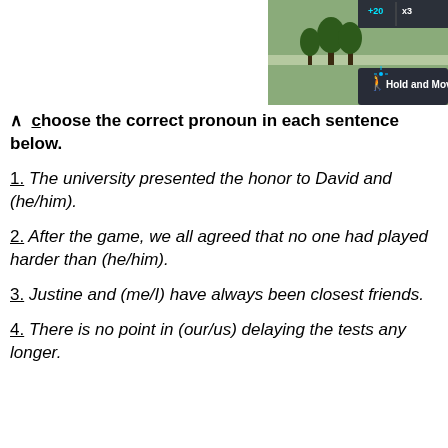[Figure (screenshot): Top-right corner screenshot of an app UI showing 'Hold and Move' label with icons, nature background, and score indicators (+20, x3)]
Choose the correct pronoun in each sentence below.
1. The university presented the honor to David and (he/him).
2. After the game, we all agreed that no one had played harder than (he/him).
3. Justine and (me/I) have always been closest friends.
4. There is no point in (our/us) delaying the tests any longer.